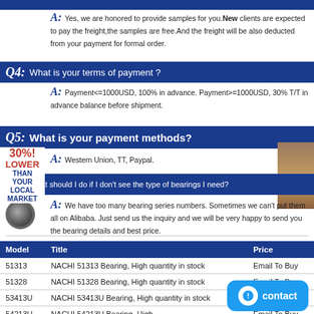A: Yes, we are honored to provide samples for you. New clients are expected to pay the freight,the samples are free. And the freight will be also deducted from your payment for formal order.
Q4: What is your terms of payment ?
A: Payment<=1000USD, 100% in advance. Payment>=1000USD, 30% T/T in advance balance before shipment.
Q5: What is your payment methods?
A: Western Union, TT, Paypal.
Q6: What should I do if I don't see the type of bearings I need?
A: We have too many bearing series numbers. Sometimes we can't put them all on Alibaba. Just send us the inquiry and we will be very happy to send you the bearing details and best price.
| Model | Title | Price |
| --- | --- | --- |
| 51313 | NACHI 51313 Bearing, High quantity in stock | Email To Buy |
| 51328 | NACHI 51328 Bearing, High quantity in stock | Email To Buy |
| 53413U | NACHI 53413U Bearing, High quantity in stock | Email To Buy |
| 54213U | NACHI 54213U Bearing, High | Email To Buy |